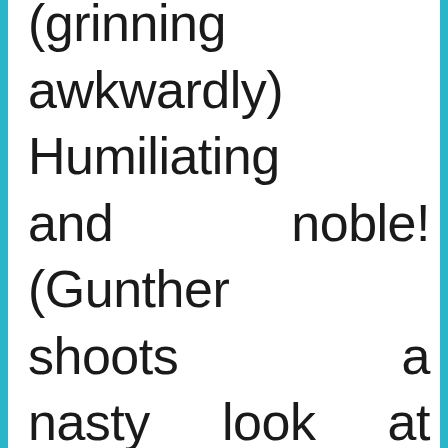(grinning awkwardly) Humiliating and noble! (Gunther shoots a nasty look at him while